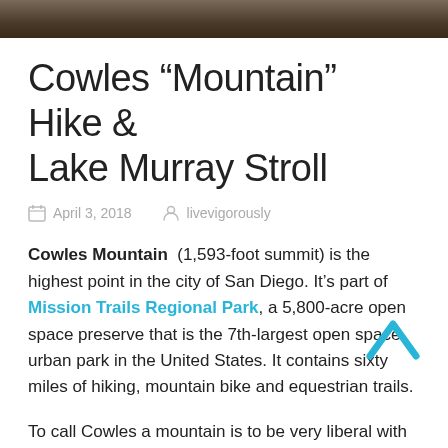[Figure (photo): Outdoor/nature photo banner at the top of the page, dark brownish tones]
Cowles “Mountain” Hike & Lake Murray Stroll
April 3, 2018   livevigorously
Cowles Mountain (1,593-foot summit) is the highest point in the city of San Diego. It’s part of Mission Trails Regional Park, a 5,800-acre open space preserve that is the 7th-largest open space urban park in the United States. It contains sixty miles of hiking, mountain bike and equestrian trails.
To call Cowles a mountain is to be very liberal with the word. I should note that the park has a 5 “peak” challenge if your hiking peens want a minor challenge